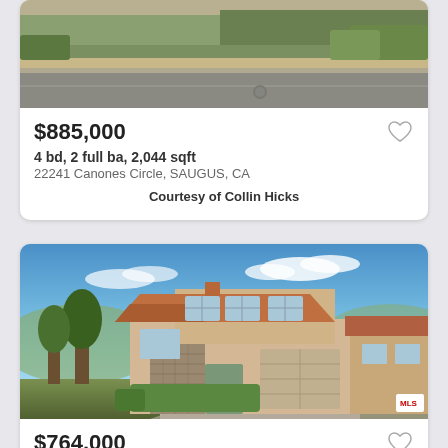[Figure (photo): Exterior photo of property at 22241 Canones Circle, partially visible, showing road and landscaping]
$885,000
4 bd, 2 full ba, 2,044 sqft
22241 Canones Circle, SAUGUS, CA
Courtesy of Collin Hicks
[Figure (photo): Exterior photo of a Spanish-style two-story home with terracotta roof tiles, stone accents, and manicured landscaping under blue sky]
$764,000
3 bd, 2 full ba, 2,072 sqft